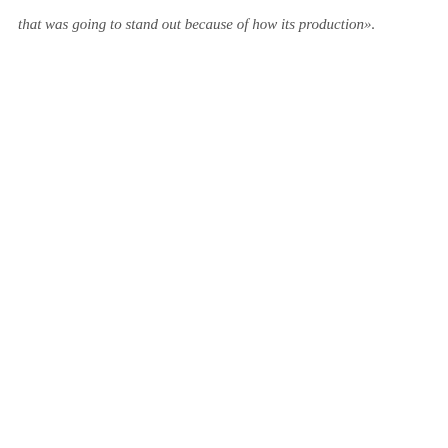that was going to stand out because of how its production».